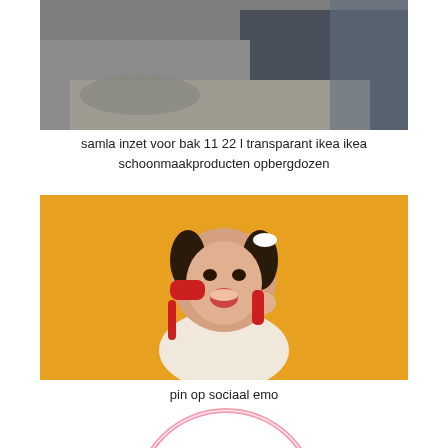[Figure (photo): Black and white photo of hands working with materials on a surface, with person wearing jeans in background]
samla inzet voor bak 11 22 l transparant ikea ikea schoonmaakproducten opbergdozen
[Figure (photo): Young girl with pigtails holding a red telephone receiver against yellow background, mouth open in surprise]
pin op sociaal emo
[Figure (illustration): Circular logo with pink script text reading Mama]